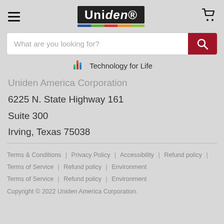Uniden — hamburger menu and cart icon
[Figure (logo): Uniden logo with white text on dark background and colored bar underneath]
What are you looking for?
Technology for Life
Uniden America Corporation
6225 N. State Highway 161
Suite 300
Irving, Texas 75038
Terms & Conditions | Privacy Policy | Accessibility | Refund policy | Terms of Service | Refund policy | Environment
Copyright © 2022 Uniden America Corporation.